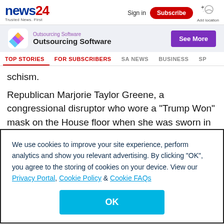news24 — Trusted News. First | Sign in | Subscribe | Add location
[Figure (infographic): Advertisement banner: Outsourcing Software with colorful diamond icon and purple 'See More' button]
TOP STORIES | FOR SUBSCRIBERS | SA NEWS | BUSINESS | SP
schism.
Republican Marjorie Taylor Greene, a congressional disruptor who wore a "Trump Won" mask on the House floor when she was sworn in in January, has long wanted to see
We use cookies to improve your site experience, perform analytics and show you relevant advertising. By clicking "OK", you agree to the storing of cookies on your device. View our Privacy Portal, Cookie Policy & Cookie FAQs
OK